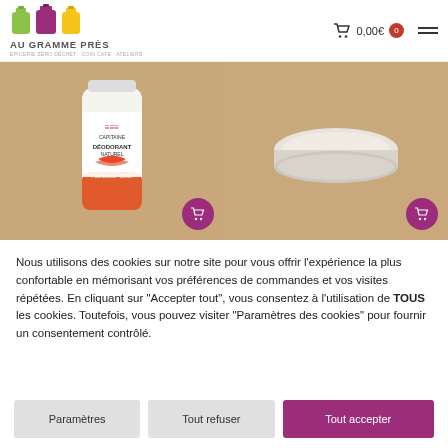AU GRAMME PRÈS — 0,00€ — cart icon — hamburger menu
[Figure (photo): Two product photos side by side: left shows a natural deodorant stick (Capitaine brand, Palmarosa/Citron), right shows a round solid cream/balm on burlap background. Each has a purple shopping cart button overlay.]
Nous utilisons des cookies sur notre site pour vous offrir l'expérience la plus confortable en mémorisant vos préférences de commandes et vos visites répétées. En cliquant sur "Accepter tout", vous consentez à l'utilisation de TOUS les cookies. Toutefois, vous pouvez visiter "Paramètres des cookies" pour fournir un consentement contrôlé.
Paramètres
Tout refuser
Tout accepter